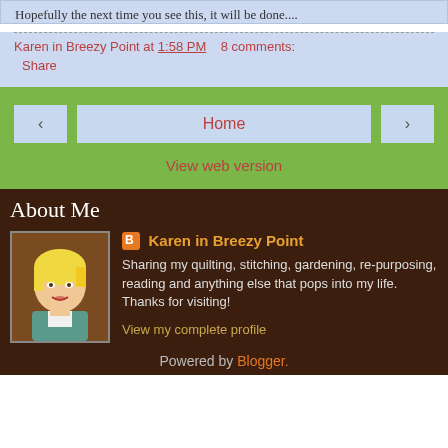Hopefully the next time you see this, it will be done....
Karen in Breezy Point at 1:58 PM   8 comments:
Share
< Home >
View web version
About Me
[Figure (illustration): Avatar illustration of a blonde woman]
Karen in Breezy Point
Sharing my quilting, stitching, gardening, re-purposing, reading and anything else that pops into my life. Thanks for visiting!
View my complete profile
Powered by Blogger.